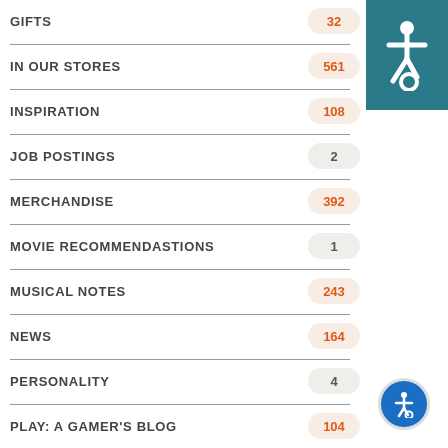GIFTS
IN OUR STORES
INSPIRATION
JOB POSTINGS
MERCHANDISE
MOVIE RECOMMENDASTIONS
MUSICAL NOTES
NEWS
PERSONALITY
PLAY: A GAMER'S BLOG